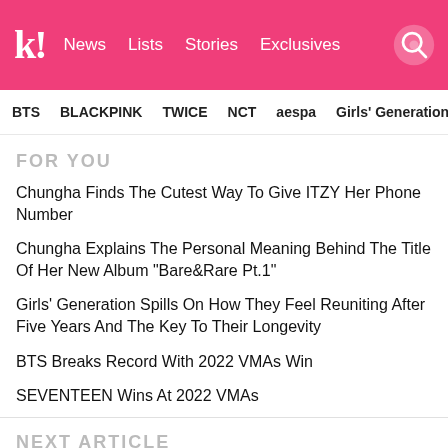kl! News Lists Stories Exclusives
BTS BLACKPINK TWICE NCT aespa Girls' Generation
FOR YOU
Chungha Finds The Cutest Way To Give ITZY Her Phone Number
Chungha Explains The Personal Meaning Behind The Title Of Her New Album "Bare&Rare Pt.1"
Girls' Generation Spills On How They Feel Reuniting After Five Years And The Key To Their Longevity
BTS Breaks Record With 2022 VMAs Win
SEVENTEEN Wins At 2022 VMAs
NEXT ARTICLE